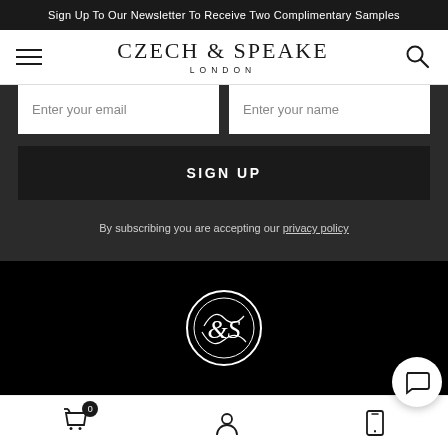Sign Up To Our Newsletter To Receive Two Complimentary Samples
[Figure (logo): Czech & Speake London brand logo with hamburger menu and search icon]
Enter your email
Enter your name
SIGN UP
By subscribing you are accepting our privacy policy
[Figure (logo): Czech & Speake circular logo mark on black background]
[Figure (other): Bottom navigation bar with cart (0), account, and phone icons plus chat bubble]